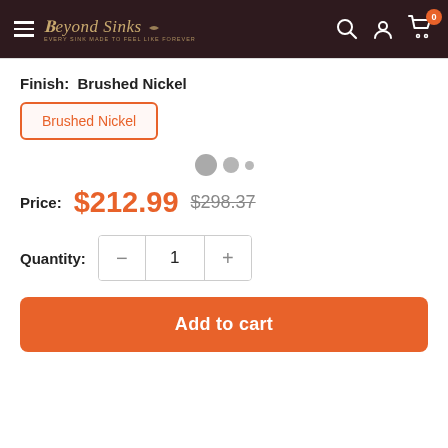Beyond Sinks — navigation header with hamburger menu, search, account, and cart (0 items)
Finish: Brushed Nickel
Brushed Nickel (selected finish button)
[Figure (other): Three loading dots/circles in gray, indicating loading state]
Price: $212.99  $298.37
Quantity: 1
Add to cart